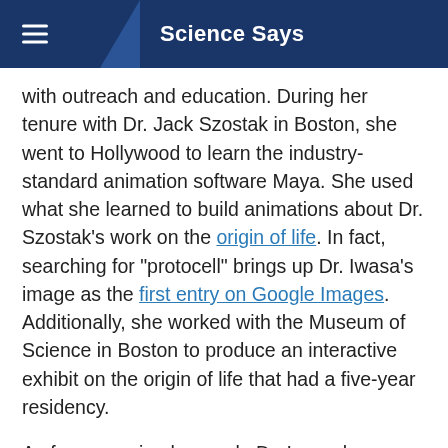Science Says
with outreach and education. During her tenure with Dr. Jack Szostak in Boston, she went to Hollywood to learn the industry-standard animation software Maya. She used what she learned to build animations about Dr. Szostak’s work on the origin of life. In fact, searching for “protocell” brings up Dr. Iwasa’s image as the first entry on Google Images. Additionally, she worked with the Museum of Science in Boston to produce an interactive exhibit on the origin of life that had a five-year residency.
As for accessing her work, Dr. Iwasa has made it a point that her work is freely distributed under the creative commons license. “Scientists complain that when you do a search for DNA, half the time the structure is wrong or something like that. I think the reason for that is because scientists are not producing images that are publicly